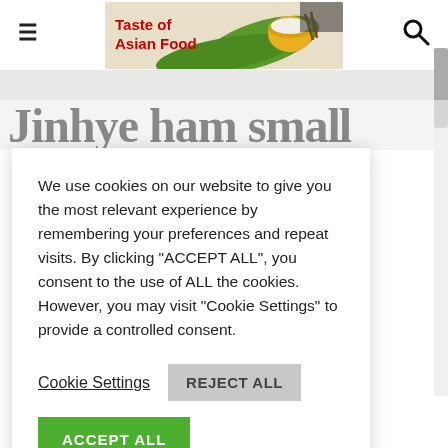[Figure (screenshot): Website header/navigation bar for 'Taste of Asian Food' with hamburger menu icon on left, logo banner in center showing a bowl of food with text 'Taste of Asian Food' in red, and search icon on right]
Jinhye ham small
We use cookies on our website to give you the most relevant experience by remembering your preferences and repeat visits. By clicking “ACCEPT ALL”, you consent to the use of ALL the cookies. However, you may visit “Cookie Settings” to provide a controlled consent.
Cookie Settings
REJECT ALL
ACCEPT ALL